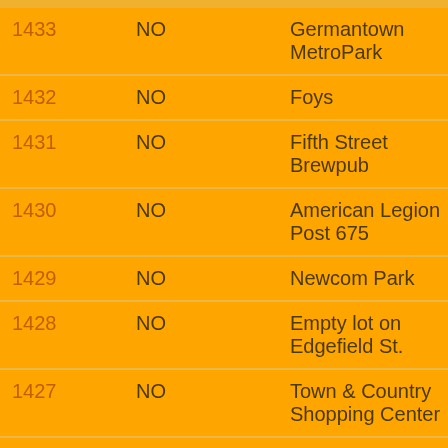| ID | Col2 | Location | Event |
| --- | --- | --- | --- |
| 1433 | NO | Germantown MetroPark | Fall S... |
| 1432 | NO | Foys | Hallo... |
| 1431 | NO | Fifth Street Brewpub | GPS... |
| 1430 | NO | American Legion Post 675 | Worl... Thro... |
| 1429 | NO | Newcom Park | Hot T... |
| 1428 | NO | Empty lot on Edgefield St. | Satur... |
| 1427 | NO | Town & Country Shopping Center | Octob... Hash... |
| 1426 | NO | Heritage Oak Park | Talk L... Hash... |
| 1425 | NO | Spring Lakes Park | Butt R... Awar... |
| 1424 | NO | Montgomery County Education | Side... |